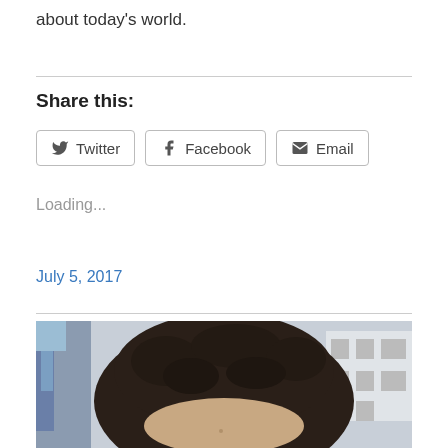about today's world.
Share this:
Loading...
July 5, 2017
[Figure (photo): Cropped photo of a person with dark curly hair, with a colorful painted wall on the left and a building visible in the background on the right.]